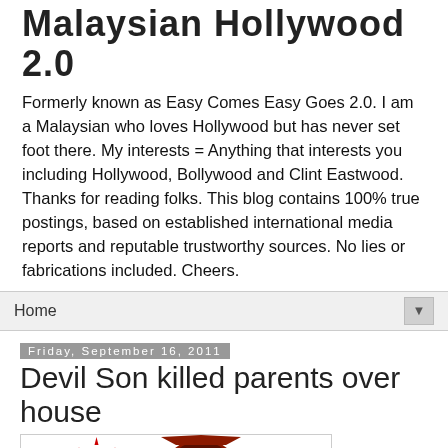Malaysian Hollywood 2.0
Formerly known as Easy Comes Easy Goes 2.0. I am a Malaysian who loves Hollywood but has never set foot there. My interests = Anything that interests you including Hollywood, Bollywood and Clint Eastwood. Thanks for reading folks. This blog contains 100% true postings, based on established international media reports and reputable trustworthy sources. No lies or fabrications included. Cheers.
Home
Friday, September 16, 2011
Devil Son killed parents over house
[Figure (photo): Person dressed in devil costume with red cloak, hood, trident, muscle suit, and skull belt buckle]